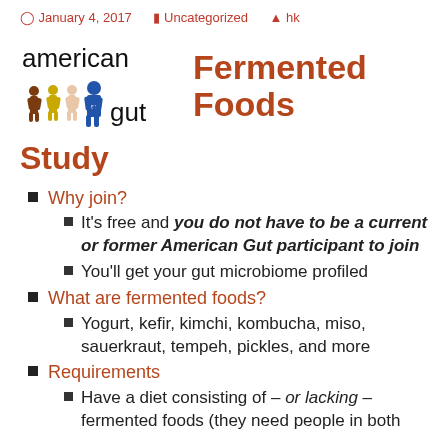January 4, 2017   Uncategorized   hk
[Figure (logo): American Gut logo with colorful figures and text 'american gut']
Fermented Foods Study
Why join?
It's free and you do not have to be a current or former American Gut participant to join
You'll get your gut microbiome profiled
What are fermented foods?
Yogurt, kefir, kimchi, kombucha, miso, sauerkraut, tempeh, pickles, and more
Requirements
Have a diet consisting of – or lacking – fermented foods (they need people in both